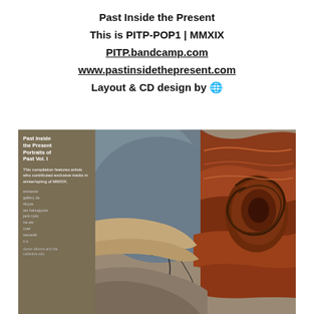Past Inside the Present
This is PITP-POP1 | MMXIX
PITP.bandcamp.com
www.pastinsidethepresent.com
Layout & CD design by 🎨
[Figure (photo): Album cover artwork for 'Past Inside the Present – Portraits of Past Vol. I'. Left sidebar in olive/tan color with white text listing artist names and compilation description. Right portion shows a close-up photograph of layered rock formations in reddish-brown and grey tones.]